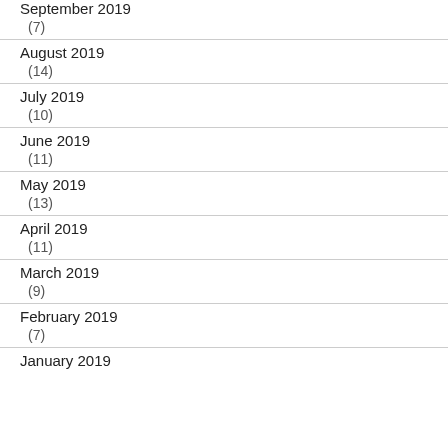September 2019 (7)
August 2019 (14)
July 2019 (10)
June 2019 (11)
May 2019 (13)
April 2019 (11)
March 2019 (9)
February 2019 (7)
January 2019